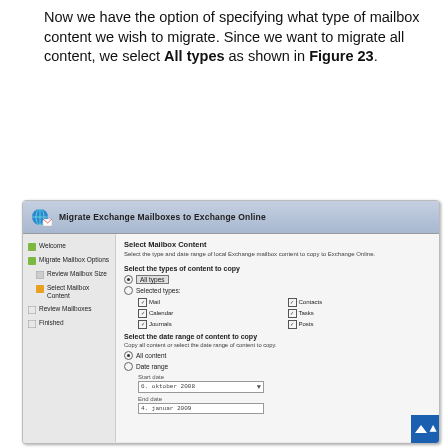Now we have the option of specifying what type of mailbox content we wish to migrate. Since we want to migrate all content, we select All types as shown in Figure 23.
[Figure (screenshot): Screenshot of 'Migrate Exchange Mailboxes to Exchange Online' wizard dialog showing 'Select Mailbox Content' step. Left nav shows: Welcome, Migrate Mailbox Options, Review Mailbox Size, Select Mailbox Content (active), Review Mailboxes, Finished. Right panel shows content type selection with 'All types' radio selected (highlighted), and 'Selected types' radio with checkboxes for Mail, Contacts, Calendar, Tasks, Journals, Posts. Below is date range section with 'All content' radio selected, 'Date range' radio, Start date field showing '6. oktober 2008', and End date field showing '4. januar 2009'.]